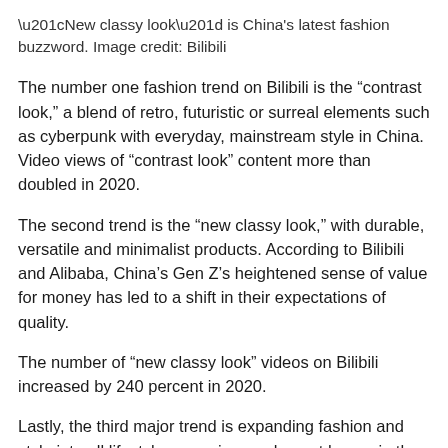“New classy look” is China’s latest fashion buzzword. Image credit: Bilibili
The number one fashion trend on Bilibili is the “contrast look,” a blend of retro, futuristic or surreal elements such as cyberpunk with everyday, mainstream style in China. Video views of “contrast look” content more than doubled in 2020.
The second trend is the “new classy look,” with durable, versatile and minimalist products. According to Bilibili and Alibaba, China’s Gen Z’s heightened sense of value for money has led to a shift in their expectations of quality.
The number of “new classy look” videos on Bilibili increased by 240 percent in 2020.
Lastly, the third major trend is expanding fashion and style into all lifestyle scenarios, such as at home, in the gym or camping.
The COVID-19 pandemic shifted young consumers’ understanding of fashion from daily wear to a comprehensive lifestyle look. Stylish